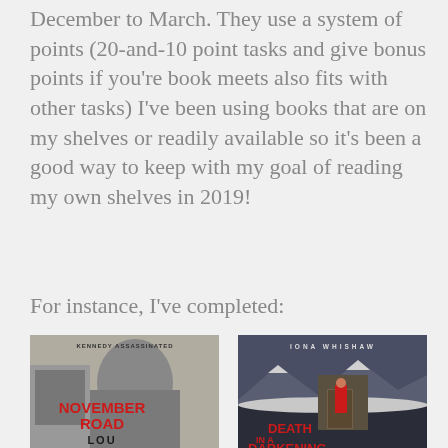December to March. They use a system of points (20-and-10 point tasks and give bonus points if you're book meets also fits with other tasks) I've been using books that are on my shelves or readily available so it's been a good way to keep with my goal of reading my own shelves in 2019!
For instance, I've completed:
[Figure (photo): Book cover of 'November Road' by Lou, showing a black and white photo of a person leaning out of a car window, with text 'KENNEDY ASSASSINATED' at the top and 'NOVEMBER ROAD' in red letters.]
[Figure (photo): Book cover of 'Death in a Darkening...' by Iona Whishaw, showing a stylized illustration of a figure in red standing at a doorway against a dark moody background with snow-capped mountains.]